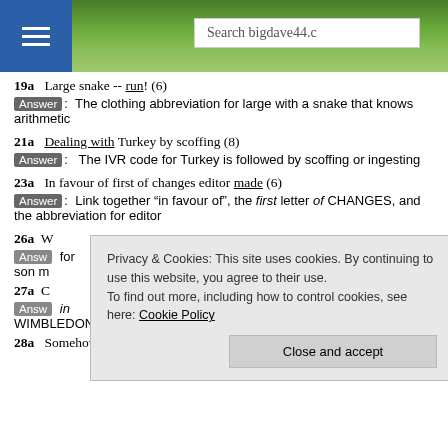[Figure (screenshot): Website header with landscape photo background, hamburger menu button on left, and search box reading 'Search bigdave44.c']
19a  Large snake -- run! (6)
Answer:  The clothing abbreviation for large with a snake that knows arithmetic
21a  Dealing with Turkey by scoffing (8)
Answer:  The IVR code for Turkey is followed by scoffing or ingesting
23a  In favour of first of changes editor made (6)
Answer:  Link together “in favour of”, the first letter of CHANGES, and the abbreviation for editor
26a  W... (partially obscured)
Answ... for son m... (partially obscured)
27a  C... (partially obscured)
Answ... in WIMBLEDON and CARRHAVEN (partially obscured)
28a  Somehow cleverest hens not caught yet (12)
Privacy & Cookies: This site uses cookies. By continuing to use this website, you agree to their use. To find out more, including how to control cookies, see here: Cookie Policy
Close and accept